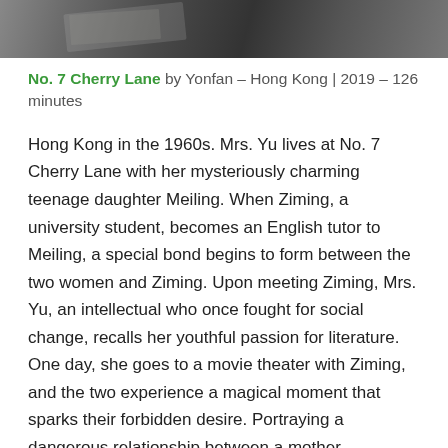[Figure (photo): Top strip showing a partial photograph, appears to be books or papers on a wooden surface, dark toned image cropped at the top of the page.]
No. 7 Cherry Lane by Yonfan – Hong Kong | 2019 – 126 minutes
Hong Kong in the 1960s. Mrs. Yu lives at No. 7 Cherry Lane with her mysteriously charming teenage daughter Meiling. When Ziming, a university student, becomes an English tutor to Meiling, a special bond begins to form between the two women and Ziming. Upon meeting Ziming, Mrs. Yu, an intellectual who once fought for social change, recalls her youthful passion for literature. One day, she goes to a movie theater with Ziming, and the two experience a magical moment that sparks their forbidden desire. Portraying a dangerous relationship between a mother, daughter, and a university student that crosses the boundary of hidden desires and love, this sensuous story unfolds on the screen with beautiful images and a moving